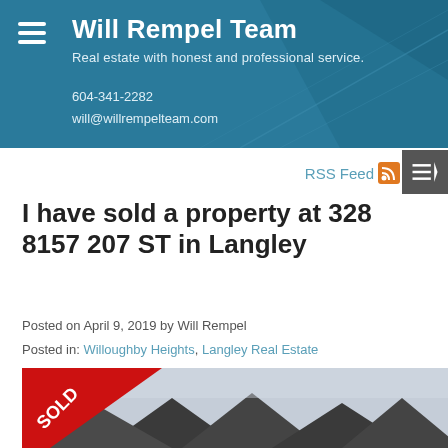Will Rempel Team
Real estate with honest and professional service.
604-341-2282
will@willrempelteam.com
RSS Feed
I have sold a property at 328 8157 207 ST in Langley
Posted on April 9, 2019 by Will Rempel
Posted in: Willoughby Heights, Langley Real Estate
[Figure (photo): Property photo with red SOLD banner overlay showing rooftops against a grey sky]